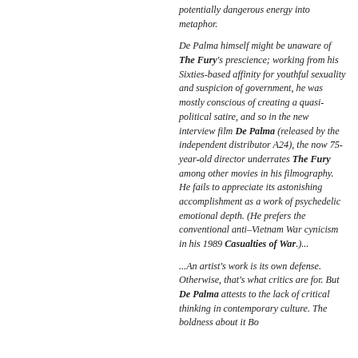potentially dangerous energy into metaphor.
De Palma himself might be unaware of The Fury's prescience; working from his Sixties-based affinity for youthful sexuality and suspicion of government, he was mostly conscious of creating a quasi-political satire, and so in the new interview film De Palma (released by the independent distributor A24), the now 75-year-old director underrates The Fury among other movies in his filmography. He fails to appreciate its astonishing accomplishment as a work of psychedelic emotional depth. (He prefers the conventional anti–Vietnam War cynicism in his 1989 Casualties of War.)...
...An artist's work is its own defense. Otherwise, that's what critics are for. But De Palma attests to the lack of critical thinking in contemporary culture. The boldness...